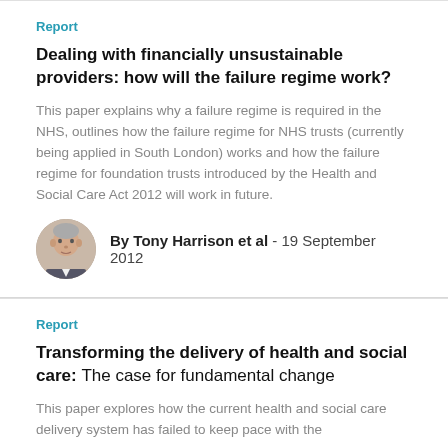Report
Dealing with financially unsustainable providers: how will the failure regime work?
This paper explains why a failure regime is required in the NHS, outlines how the failure regime for NHS trusts (currently being applied in South London) works and how the failure regime for foundation trusts introduced by the Health and Social Care Act 2012 will work in future.
By Tony Harrison et al - 19 September 2012
Report
Transforming the delivery of health and social care: The case for fundamental change
This paper explores how the current health and social care delivery system has failed to keep pace with the